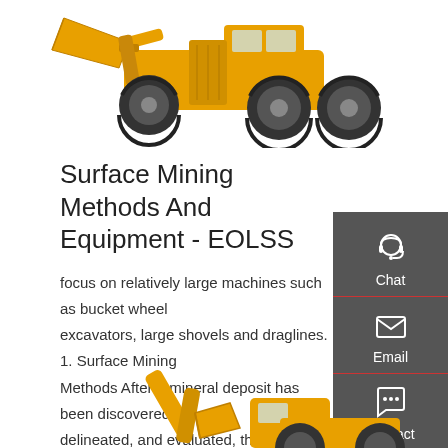[Figure (photo): Yellow wheel loader / bulldozer heavy machinery equipment shown from front-side angle against white background, top portion of page]
Surface Mining Methods And Equipment - EOLSS
focus on relatively large machines such as bucket wheel excavators, large shovels and draglines. 1. Surface Mining Methods After a mineral deposit has been discovered, delineated, and evaluated, the most appropriate mining method is selected based on technical, …
[Figure (illustration): Sidebar with dark gray background containing three icons: Chat (headset icon), Email (envelope icon), Contact (speech bubble icon), each separated by a red horizontal line]
Get a quote
[Figure (photo): Yellow excavator/mining equipment partially visible at bottom of page, cut off]